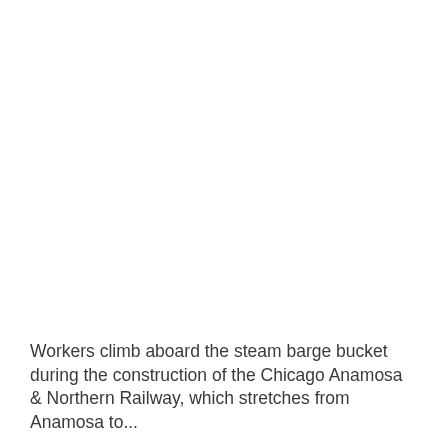[Figure (photo): Historical photograph of workers climbing aboard a steam barge bucket during construction of the Chicago Anamosa & Northern Railway. The image occupies the upper portion of the page and appears mostly white/blank in this view.]
Workers climb aboard the steam barge bucket during the construction of the Chicago Anamosa & Northern Railway, which stretches from Anamosa to...